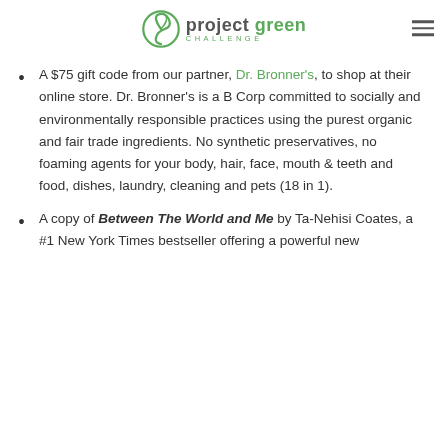project green CHALLENGE
A $75 gift code from our partner, Dr. Bronner's, to shop at their online store. Dr. Bronner's is a B Corp committed to socially and environmentally responsible practices using the purest organic and fair trade ingredients. No synthetic preservatives, no foaming agents for your body, hair, face, mouth & teeth and food, dishes, laundry, cleaning and pets (18 in 1).
A copy of Between The World and Me by Ta-Nehisi Coates, a #1 New York Times bestseller offering a powerful new